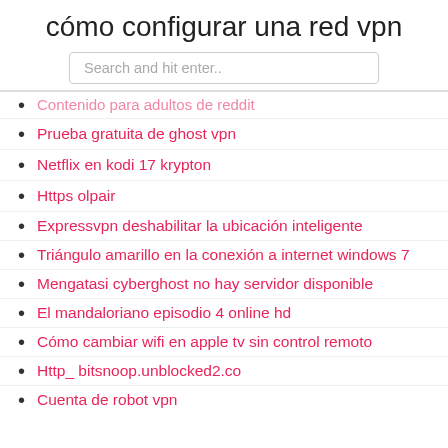cómo configurar una red vpn
Search and hit enter..
Contenido para adultos de reddit
Prueba gratuita de ghost vpn
Netflix en kodi 17 krypton
Https olpair
Expressvpn deshabilitar la ubicación inteligente
Triángulo amarillo en la conexión a internet windows 7
Mengatasi cyberghost no hay servidor disponible
El mandaloriano episodio 4 online hd
Cómo cambiar wifi en apple tv sin control remoto
Http_ bitsnoop.unblocked2.co
Cuenta de robot vpn